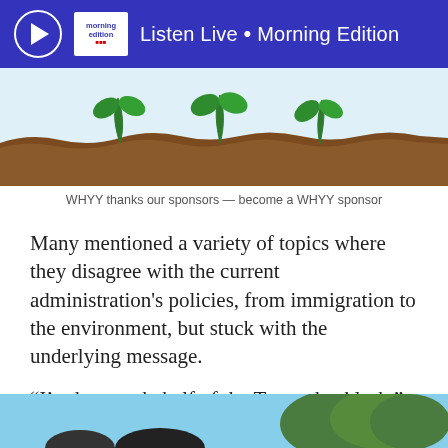Listen Live • Morning Edition
[Figure (illustration): Illustration of three green seedlings growing from brown soil on a light blue background — a sponsor advertisement image for WHYY]
WHYY thanks our sponsors — become a WHYY sponsor
Many mentioned a variety of topics where they disagree with the current administration's policies, from immigration to the environment, but stuck with the underlying message.
“I’m here on behalf of the Trump backlash,” said attendee John Brenis, who lives in Northeast Philadelphia. “I will march with anyone who opposes Trump.”
[Figure (photo): Partial photo at the bottom of the page showing people outdoors, partially cropped]